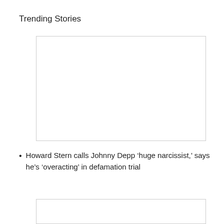Trending Stories
[Figure (other): Empty white image placeholder with light gray border]
Howard Stern calls Johnny Depp ‘huge narcissist,’ says he’s ‘overacting’ in defamation trial
[Figure (other): Empty white image placeholder with light gray border (partially visible at bottom)]